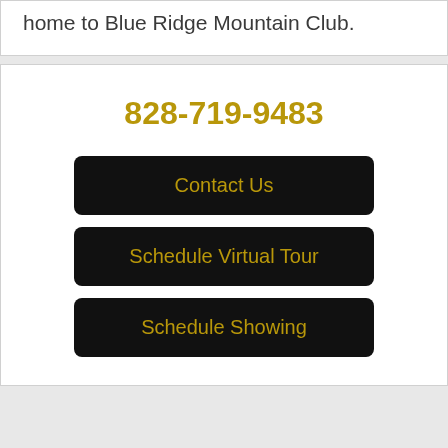home to Blue Ridge Mountain Club.
828-719-9483
Contact Us
Schedule Virtual Tour
Schedule Showing